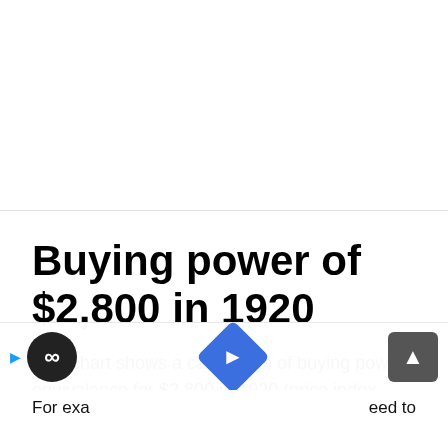Buying power of $2,800 in 1920
This chart shows a calculation of buying power equivalence for $2,800 in 1920 (price index tracking began in 1635
For exa eed to